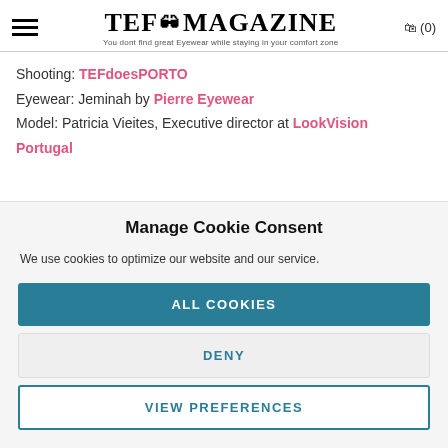TEF MAGAZINE — You dont find great Eyewear while staying in your comfort zone
Shooting: TEFdoesPORTO
Eyewear: Jeminah by Pierre Eyewear
Model: Patricia Vieites, Executive director at LookVision Portugal
Manage Cookie Consent
We use cookies to optimize our website and our service.
ALL COOKIES
DENY
VIEW PREFERENCES